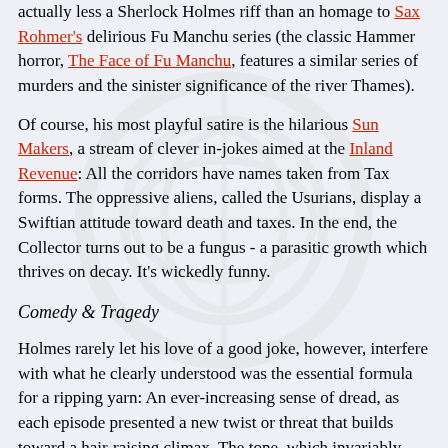actually less a Sherlock Holmes riff than an homage to Sax Rohmer's delirious Fu Manchu series (the classic Hammer horror, The Face of Fu Manchu, features a similar series of murders and the sinister significance of the river Thames).
Of course, his most playful satire is the hilarious Sun Makers, a stream of clever in-jokes aimed at the Inland Revenue: All the corridors have names taken from Tax forms. The oppressive aliens, called the Usurians, display a Swiftian attitude toward death and taxes. In the end, the Collector turns out to be a fungus - a parasitic growth which thrives on decay. It's wickedly funny.
Comedy & Tragedy
Holmes rarely let his love of a good joke, however, interfere with what he clearly understood was the essential formula for a ripping yarn: An ever-increasing sense of dread, as each episode presented a new twist or threat that builds toward a hair-raising climax. The tone, which invariably starts off light and airy, must become increasingly dark as the stakes are raised and the tragic possibilities begin to be made manifest.
His best scripts walk this tightrope expertly, and find comedy not in jokes per se as much as in witty retorts and sarcastic asides. His brilliantly crisp dialogue is often so perfectly pitched as to evoke cheerful giggling, even in the most dire of circumstances. Li H'sen